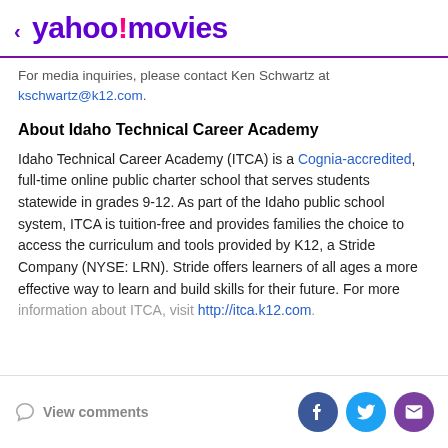< yahoo!movies
For media inquiries, please contact Ken Schwartz at kschwartz@k12.com.
About Idaho Technical Career Academy
Idaho Technical Career Academy (ITCA) is a Cognia-accredited, full-time online public charter school that serves students statewide in grades 9-12. As part of the Idaho public school system, ITCA is tuition-free and provides families the choice to access the curriculum and tools provided by K12, a Stride Company (NYSE: LRN). Stride offers learners of all ages a more effective way to learn and build skills for their future. For more information about ITCA, visit http://itca.k12.com.
View comments